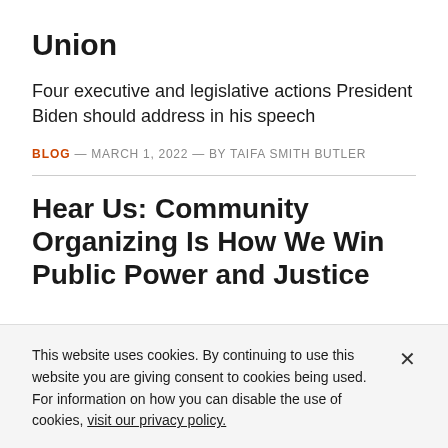Union
Four executive and legislative actions President Biden should address in his speech
BLOG — MARCH 1, 2022 — By TAIFA SMITH BUTLER
Hear Us: Community Organizing Is How We Win Public Power and Justice
This website uses cookies. By continuing to use this website you are giving consent to cookies being used. For information on how you can disable the use of cookies, visit our privacy policy.